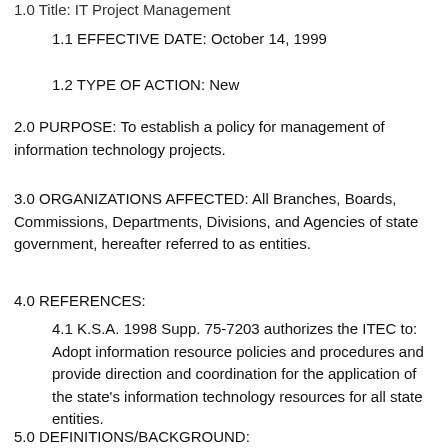1.0 Title: IT Project Management
1.1 EFFECTIVE DATE: October 14, 1999
1.2 TYPE OF ACTION: New
2.0 PURPOSE: To establish a policy for management of information technology projects.
3.0 ORGANIZATIONS AFFECTED: All Branches, Boards, Commissions, Departments, Divisions, and Agencies of state government, hereafter referred to as entities.
4.0 REFERENCES:
4.1 K.S.A. 1998 Supp. 75-7203 authorizes the ITEC to: Adopt information resource policies and procedures and provide direction and coordination for the application of the state's information technology resources for all state entities.
5.0 DEFINITIONS/BACKGROUND: